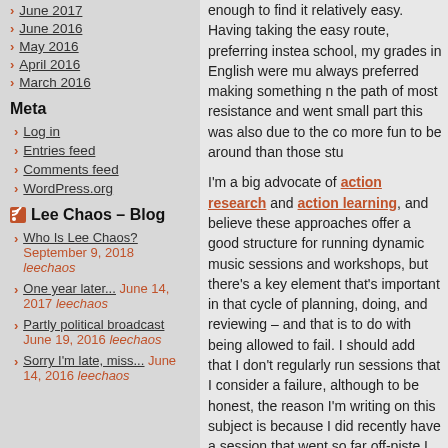June 2017
June 2016
May 2016
April 2016
March 2016
Meta
Log in
Entries feed
Comments feed
WordPress.org
Lee Chaos – Blog
Who Is Lee Chaos? September 9, 2018 leechaos
One year later... June 14, 2017 leechaos
Partly political broadcast June 19, 2016 leechaos
Sorry I'm late, miss... June 14, 2016 leechaos
enough to find it relatively easy. Having taking the easy route, preferring instea school, my grades in English were mu always preferred making something n the path of most resistance and went small part this was also due to the co more fun to be around than those stu
I'm a big advocate of action research and action learning, and believe these approaches offer a good structure for running dynamic music sessions and workshops, but there's a key element that's important in that cycle of planning, doing, and reviewing – and that is to do with being allowed to fail. I should add that I don't regularly run sessions that I consider a failure, although to be honest, the reason I'm writing on this subject is because I did recently have a session that went so far off-piste I began to question my life choices. After the dust had settled, I reviewed the process – when I was in a band, we used to refer to the analysis of bad gigs as the post-morte session had started to go off the rails. targeted emails to find out more about made some tweaks to the session co equipment I was using, and all those in